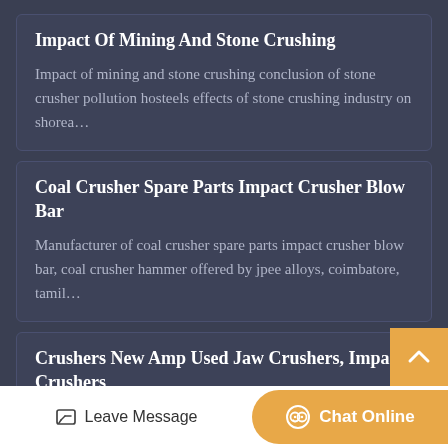Impact Of Mining And Stone Crushing
Impact of mining and stone crushing conclusion of stone crusher pollution hosteels effects of stone crushing industry on shorea…
Coal Crusher Spare Parts Impact Crusher Blow Bar
Manufacturer of coal crusher spare parts impact crusher blow bar, coal crusher hammer offered by jpee alloys, coimbatore, tamil…
Crushers New Amp Used Jaw Crushers, Impact Crushers
New amp used jaw crushers, impact crushers, amp cone crushers for sale in top brands like extec, terex, sandvik, powerscreen, a…
Larsen And Toubro Limited Crusher Impactor Alibaba
Leave Message | Chat Online